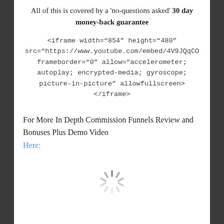All of this is covered by a 'no-questions asked' 30 day money-back guarantee
<iframe width="854" height="480" src="https://www.youtube.com/embed/4V9JQqCO frameborder="0" allow="accelerometer; autoplay; encrypted-media; gyroscope; picture-in-picture" allowfullscreen> </iframe>
For More In Depth Commission Funnels Review and Bonuses Plus Demo Video
Here:
[Figure (other): Loading spinner icon at bottom of page]